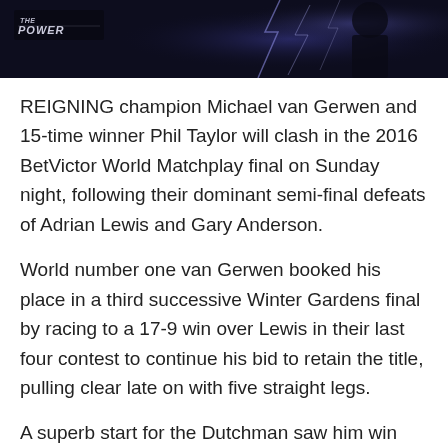[Figure (photo): Dark banner photo with lightning/electric effect and 'The Power' logo overlay in top-left corner, dark blue/black tones]
REIGNING champion Michael van Gerwen and 15-time winner Phil Taylor will clash in the 2016 BetVictor World Matchplay final on Sunday night, following their dominant semi-final defeats of Adrian Lewis and Gary Anderson.
World number one van Gerwen booked his place in a third successive Winter Gardens final by racing to a 17-9 win over Lewis in their last four contest to continue his bid to retain the title, pulling clear late on with five straight legs.
A superb start for the Dutchman saw him win the opening three legs without reply, including a 13-darter